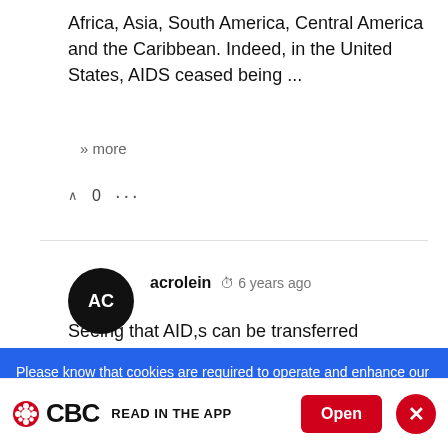Africa, Asia, South America, Central America and the Caribbean. Indeed, in the United States, AIDS ceased being ...
» more
0
acrolein  6 years ago
Seeing that AID,s can be transferred apparently between a husband and wife whats the point of asking a man
Please know that cookies are required to operate and enhance our services as well as for advertising purposes. We value your privacy. If you are not comfortable with us using this information, please review your settings before continuing your visit.
[Figure (logo): CBC logo with gem symbol and wordmark, READ IN THE APP text, Open button, and close X button]